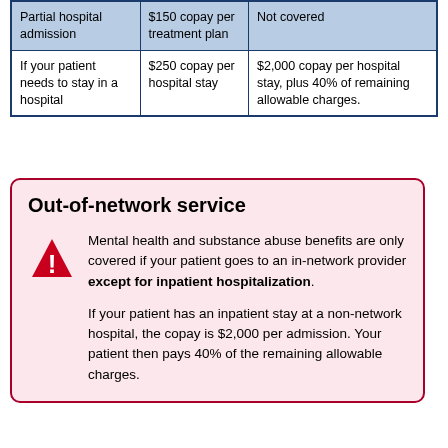| Service | In-Network | Out-of-Network |
| --- | --- | --- |
| Partial hospital admission | $150 copay per treatment plan | Not covered |
| If your patient needs to stay in a hospital | $250 copay per hospital stay | $2,000 copay per hospital stay, plus 40% of remaining allowable charges. |
Out-of-network service
Mental health and substance abuse benefits are only covered if your patient goes to an in-network provider except for inpatient hospitalization. If your patient has an inpatient stay at a non-network hospital, the copay is $2,000 per admission. Your patient then pays 40% of the remaining allowable charges.